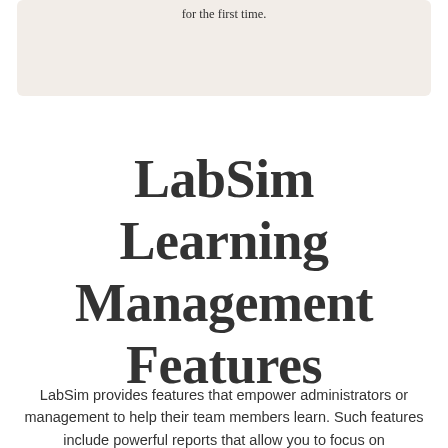for the first time.
LabSim Learning Management Features
LabSim provides features that empower administrators or management to help their team members learn. Such features include powerful reports that allow you to focus on